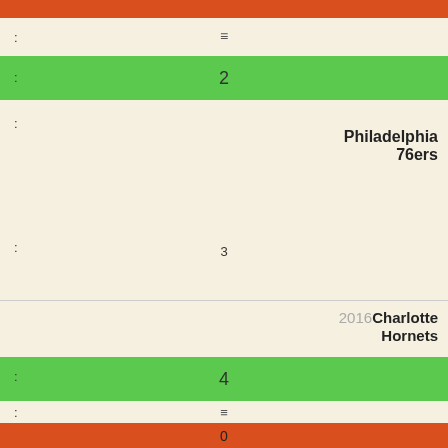| : | ≡ |  |
| : | 2 |  |
| : |  | Philadelphia 76ers |
| : | 3 |  |
| 2016 | Charlotte Hornets |  |
| : | 4 |  |
| : | ≡ |  |
| : | 0 |  |
| : |  | Philadelphia |